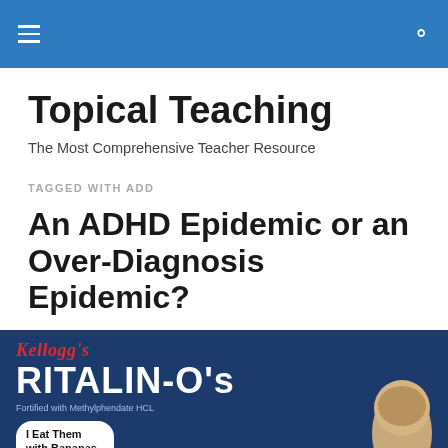Topical Teaching — navigation header bar
Topical Teaching
The Most Comprehensive Teacher Resource
TAGGED WITH ADD
An ADHD Epidemic or an Over-Diagnosis Epidemic?
[Figure (photo): Satirical Kellogg's cereal box parody labeled 'Ritalin-O's' with 'Fortified with Methylphendate HCL' and a speech bubble reading 'I Eat Them with Bananas heehehehehe!!' next to an image of a child's head, on a dark blue background with the Kellogg's logo in red script.]